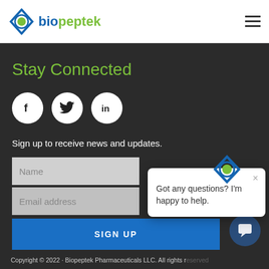[Figure (logo): Biopeptek logo with diamond shape and green dot, with 'biopeptek' text in blue and green]
Stay Connected
[Figure (infographic): Three white circular social media icons: Facebook (f), Twitter (bird), LinkedIn (in)]
Sign up to receive news and updates.
[Figure (screenshot): Name input field (text input, placeholder 'Name')]
[Figure (screenshot): Email address input field (text input, placeholder 'Email address')]
SIGN UP
[Figure (infographic): Chat popup with Biopeptek logo icon and text: 'Got any questions? I'm happy to help.' with an X close button]
Copyright © 2022 · Biopeptek Pharmaceuticals LLC. All rights reserved